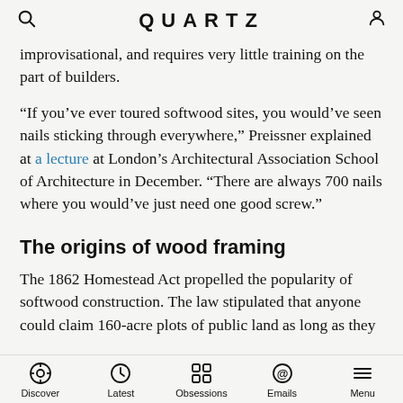QUARTZ
improvisational, and requires very little training on the part of builders.
“If you’ve ever toured softwood sites, you would’ve seen nails sticking through everywhere,” Preissner explained at a lecture at London’s Architectural Association School of Architecture in December. “There are always 700 nails where you would’ve just need one good screw.”
The origins of wood framing
The 1862 Homestead Act propelled the popularity of softwood construction. The law stipulated that anyone could claim 160-acre plots of public land as long as they
Discover | Latest | Obsessions | Emails | Menu